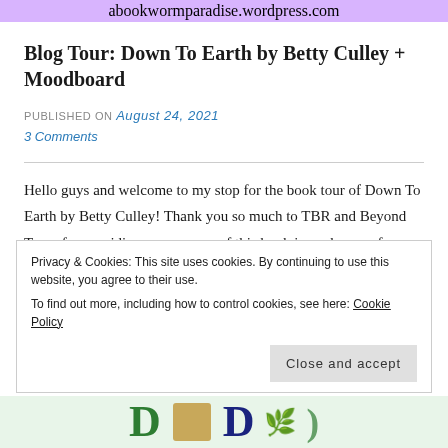abookwormparadise.wordpress.com
Blog Tour: Down To Earth by Betty Culley + Moodboard
PUBLISHED ON August 24, 2021
3 Comments
Hello guys and welcome to my stop for the book tour of Down To Earth by Betty Culley! Thank you so much to TBR and Beyond Tours for providing me an e-arc of this book in exchange of a sincere review. Click on the tour banner below
Privacy & Cookies: This site uses cookies. By continuing to use this website, you agree to their use.
To find out more, including how to control cookies, see here: Cookie Policy
Close and accept
[Figure (illustration): Partial view of a decorative book tour banner with illustrated characters and design elements at the bottom of the page]